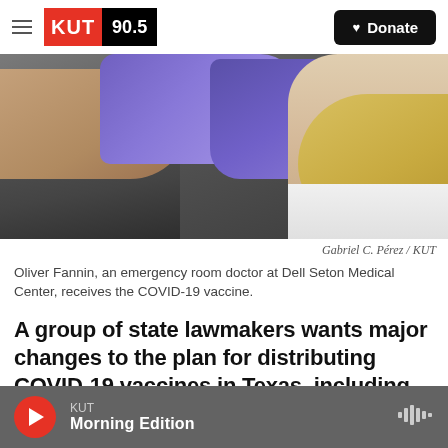KUT 90.5 | Donate
[Figure (photo): A person receiving a COVID-19 vaccine injection from a healthcare worker wearing blue gloves]
Gabriel C. Pérez / KUT
Oliver Fannin, an emergency room doctor at Dell Seton Medical Center, receives the COVID-19 vaccine.
A group of state lawmakers wants major changes to the plan for distributing COVID-19 vaccines in Texas, including changing the order of priority for who can get the vaccine.